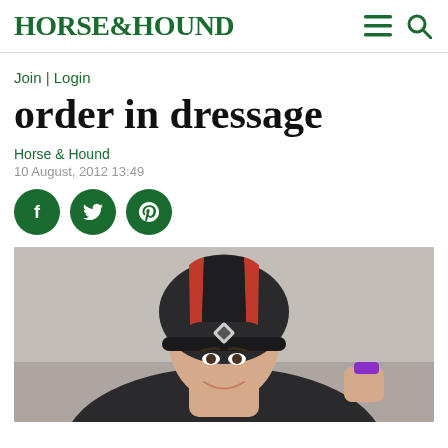HORSE&HOUND
Join | Login
order in dressage
Horse & Hound
10 August, 2012 13:49
[Figure (photo): Social media share buttons: Facebook, Twitter, Pinterest (green circles)]
[Figure (photo): Photo of a person wearing a dark riding helmet with red stripe and diamond logo, smiling, holding what appears to be a medal or ribbon]